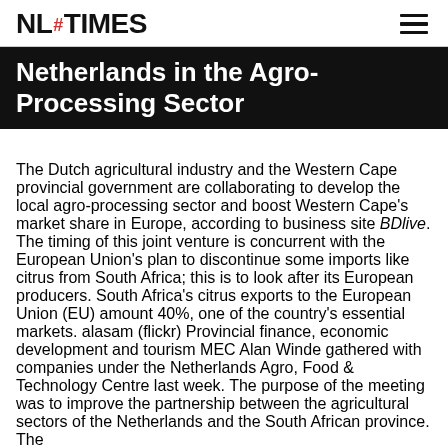NL# TIMES
Netherlands in the Agro-Processing Sector
The Dutch agricultural industry and the Western Cape provincial government are collaborating to develop the local agro-processing sector and boost Western Cape's market share in Europe, according to business site BDlive. The timing of this joint venture is concurrent with the European Union's plan to discontinue some imports like citrus from South Africa; this is to look after its European producers. South Africa's citrus exports to the European Union (EU) amount 40%, one of the country's essential markets. alasam (flickr) Provincial finance, economic development and tourism MEC Alan Winde gathered with companies under the Netherlands Agro, Food & Technology Centre last week. The purpose of the meeting was to improve the partnership between the agricultural sectors of the Netherlands and the South African province. The